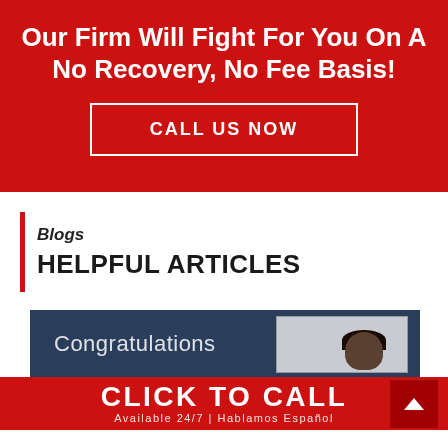Our Firm Will Fight For You On A No Recovery, No Fee Basis!
CALL US NOW
Blogs
HELPFUL ARTICLES
[Figure (photo): Blog article thumbnail showing text 'Congratulations' on dark blue background with a person visible on right side]
CLICK TO CALL
Available 24/7 | Hablamos Español